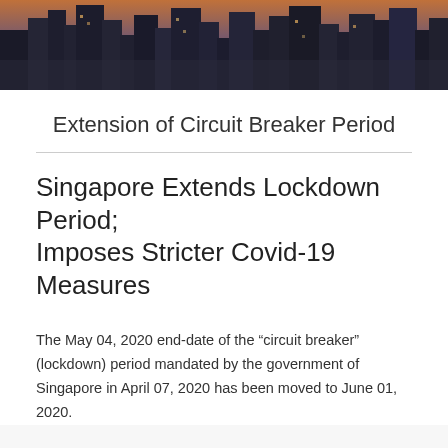[Figure (photo): Aerial/overhead photo of city skyscrapers and buildings, dark toned, used as decorative header image]
Extension of Circuit Breaker Period
Singapore Extends Lockdown Period; Imposes Stricter Covid-19 Measures
The May 04, 2020 end-date of the “circuit breaker” (lockdown) period mandated by the government of Singapore in April 07, 2020 has been moved to June 01, 2020.